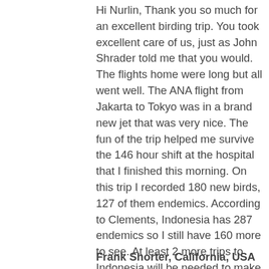Hi Nurlin, Thank you so much for an excellent birding trip. You took excellent care of us, just as John Shrader told me that you would. The flights home were long but all went well. The ANA flight from Jakarta to Tokyo was in a brand new jet that was very nice. The fun of the trip helped me survive the 146 hour shift at the hospital that I finished this morning. On this trip I recorded 180 new birds, 127 of them endemics. According to Clements, Indonesia has 287 endemics so I still have 160 more to see. At least 2 more trips to Indonesia will be needed to make a dent in the total of what is left. For me the high points of the trip were the Wallace's Standardwing Bird-of-Paradise at the lek, the Eclectus Parrot, the White Cockatoo and all those kingfishers. I certainly hope that I will have the pleasure of birding with you again.
Frank Shorter, California, USA